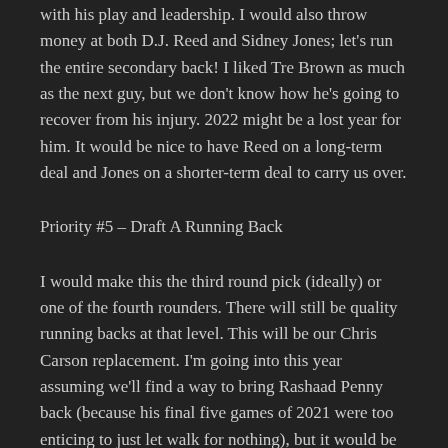with his play and leadership. I would also throw money at both D.J. Reed and Sidney Jones; let's run the entire secondary back! I liked Tre Brown as much as the next guy, but we don't know how he's going to recover from his injury. 2022 might be a lost year for him. It would be nice to have Reed on a long-term deal and Jones on a shorter-term deal to carry us over.
Priority #5 – Draft A Running Back
I would make this the third round pick (ideally) or one of the fourth rounders. There will still be quality running backs at that level. This will be our Chris Carson replacement. I'm going into this year assuming we'll find a way to bring Rashaad Penny back (because his final five games of 2021 were too enticing to just let walk for nothing), but it would be idiotic to expect him to all of a sudden be an every-down, every-game running back. I want a rookie with a higher ceiling than either Homer or Dallas. He doesn't necessarily have to be the best blocker in college, nor does he have to be a return man of some sort. He just needs to have incredible running back skills,